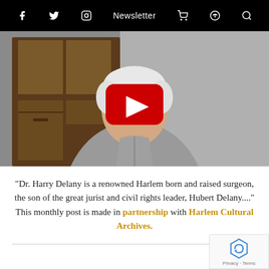f  Twitter  Instagram  Newsletter  Cart  Podcast  Search
[Figure (screenshot): YouTube video thumbnail showing an elderly white-haired man sitting in front of a wooden cabinet, with a red YouTube play button overlay in the center]
"Dr. Harry Delany is a renowned Harlem born and raised surgeon, the son of the great jurist and civil rights leader, Hubert Delany...." This monthly post is made in partnership with Harlem Cultural Archives.